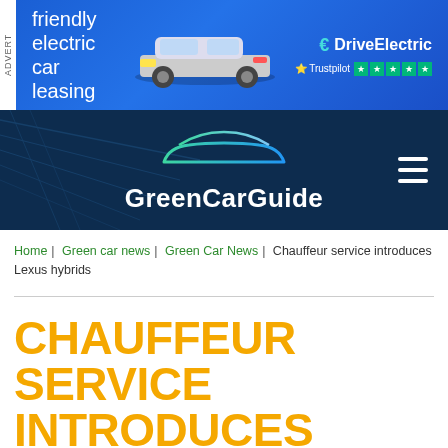[Figure (other): DriveElectric advertisement banner for friendly electric car leasing, showing a MINI electric car, Trustpilot 5-star rating]
[Figure (logo): GreenCarGuide logo with car silhouette outline in teal/green gradient on dark navy background]
Home | Green car news | Green Car News | Chauffeur service introduces Lexus hybrids
CHAUFFEUR SERVICE INTRODUCES LEXUS HYBRIDS
04 JUN 2007